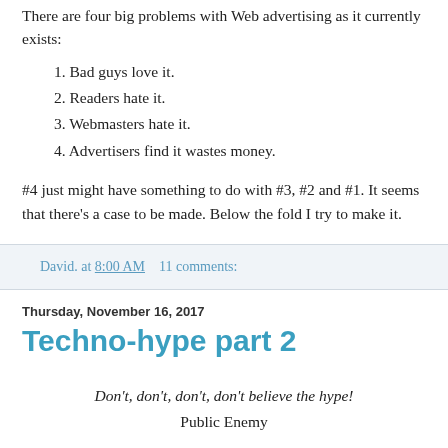There are four big problems with Web advertising as it currently exists:
1. Bad guys love it.
2. Readers hate it.
3. Webmasters hate it.
4. Advertisers find it wastes money.
#4 just might have something to do with #3, #2 and #1. It seems that there's a case to be made. Below the fold I try to make it.
David. at 8:00 AM    11 comments:
Thursday, November 16, 2017
Techno-hype part 2
Don't, don't, don't, don't believe the hype!
Public Enemy
Enough about the hype around self-driving cars, now on to